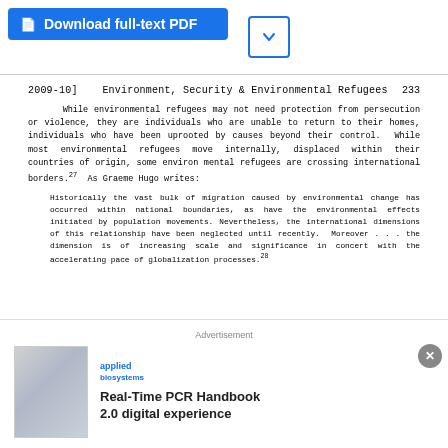Download full-text PDF
2009-10]    Environment, Security & Environmental Refugees    233
While environmental refugees may not need protection from persecution or violence, they are individuals who are unable to return to their homes, individuals who have been uprooted by causes beyond their control.  While most environmental refugees move internally, displaced within their countries of origin, some environmental refugees are crossing international borders.27  As Graeme Hugo writes:
Historically the vast bulk of migration caused by environmental change has occurred within national boundaries, as have the environmental effects initiated by population movements. Nevertheless, the international dimensions of this relationship have been neglected until recently.  Moreover . . . the dimension is of increasing scale and significance in concert with the accelerating pace of globalization processes.28
Advertisement
Real-Time PCR Handbook 2.0 digital experience